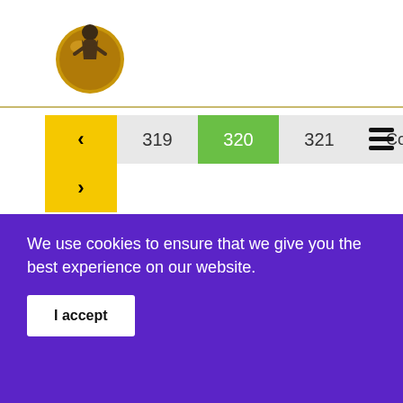[Figure (logo): Circular logo with a figure of a robed person (friar) standing on a golden/brown globe]
[Figure (screenshot): Navigation bar with back arrow (yellow), page numbers 319, 320 (active/green), 321, Contents, and forward arrow (yellow)]
Francis of Assisi: Early Documents, vol. 3, p. 320
[Figure (photo): Dark brownish-grey image area (partially visible book page content)]
We use cookies to ensure that we give you the best experience on our website.
I accept